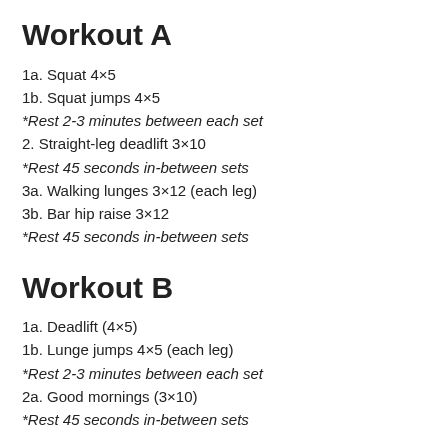Workout A
1a. Squat 4×5
1b. Squat jumps 4×5
*Rest 2-3 minutes between each set
2. Straight-leg deadlift 3×10
*Rest 45 seconds in-between sets
3a. Walking lunges 3×12 (each leg)
3b. Bar hip raise 3×12
*Rest 45 seconds in-between sets
Workout B
1a. Deadlift (4×5)
1b. Lunge jumps 4×5 (each leg)
*Rest 2-3 minutes between each set
2a. Good mornings (3×10)
*Rest 45 seconds in-between sets